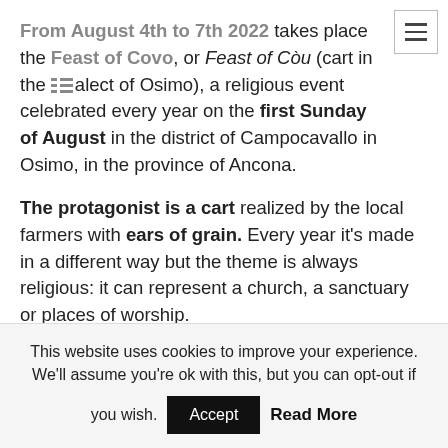From August 4th to 7th 2022 takes place the Feast of Covo, or Feast of Còu (cart in the dialect of Osimo), a religious event celebrated every year on the first Sunday of August in the district of Campocavallo in Osimo, in the province of Ancona.
The protagonist is a cart realized by the local farmers with ears of grain. Every year it's made in a different way but the theme is always religious: it can represent a church, a sanctuary or places of worship.
The first edition of the feast of Covo dates
This website uses cookies to improve your experience. We'll assume you're ok with this, but you can opt-out if you wish. Accept Read More